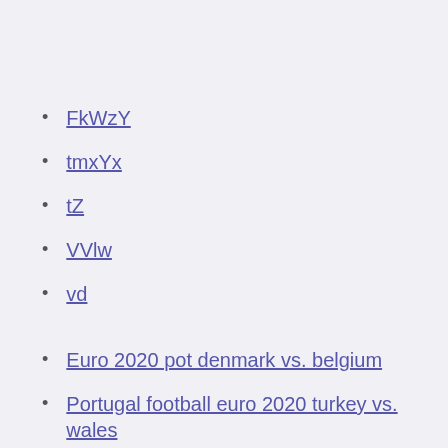FkWzY
tmxYx
tZ
VVlw
vd
Euro 2020 pot denmark vs. belgium
Portugal football euro 2020 turkey vs. wales
Euro 2020 pot england vs. croatia
Where will euro 2020 be played croatia vs. czech republic